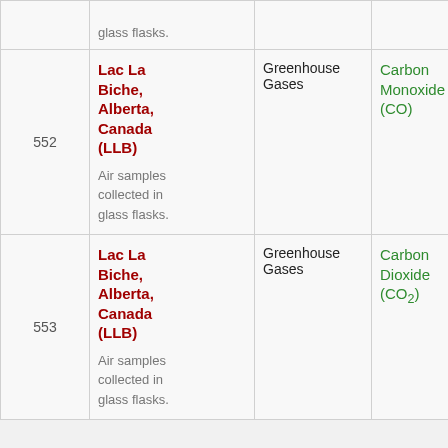| # | Site | Category | Parameter |  |
| --- | --- | --- | --- | --- |
|  | glass flasks. |  |  |  |
| 552 | Lac La Biche, Alberta, Canada (LLB)
Air samples collected in glass flasks. | Greenhouse Gases | Carbon Monoxide (CO) | F |
| 553 | Lac La Biche, Alberta, Canada (LLB)
Air samples collected in glass flasks. | Greenhouse Gases | Carbon Dioxide (CO₂) | F |